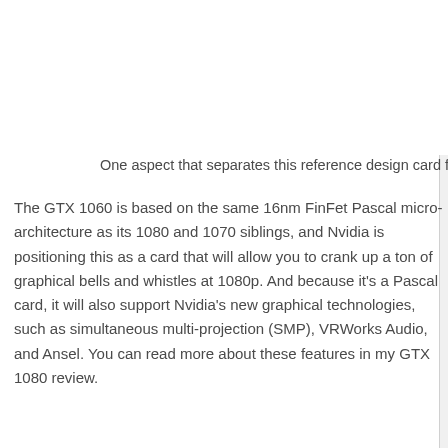One aspect that separates this reference design card from the
The GTX 1060 is based on the same 16nm FinFet Pascal micro-architecture as its 1080 and 1070 siblings, and Nvidia is positioning this as a card that will allow you to crank up a ton of graphical bells and whistles at 1080p. And because it’s a Pascal card, it will also support Nvidia’s new graphical technologies, such as simultaneous multi-projection (SMP), VRWorks Audio, and Ansel. You can read more about these features in my GTX 1080 review.